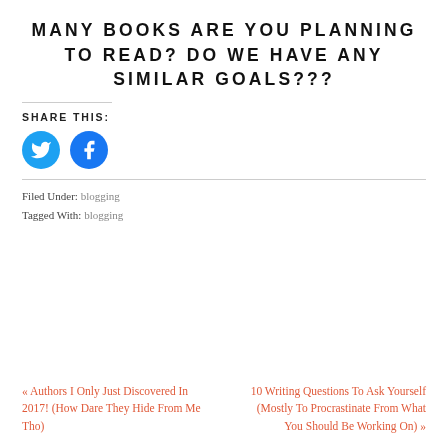MANY BOOKS ARE YOU PLANNING TO READ? DO WE HAVE ANY SIMILAR GOALS???
SHARE THIS:
[Figure (illustration): Twitter and Facebook social share icon buttons (blue circles with white bird and f logos)]
Filed Under: blogging
Tagged With: blogging
« Authors I Only Just Discovered In 2017! (How Dare They Hide From Me Tho)
10 Writing Questions To Ask Yourself (Mostly To Procrastinate From What You Should Be Working On) »